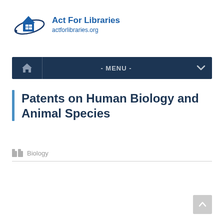[Figure (logo): Act For Libraries logo with house/library icon and orbital swoosh in blue]
Act For Libraries
actforlibraries.org
[Figure (screenshot): Navigation menu bar with home icon and - MENU - dropdown on dark navy background]
Patents on Human Biology and Animal Species
Biology
[Figure (other): Back to top button arrow in gray]